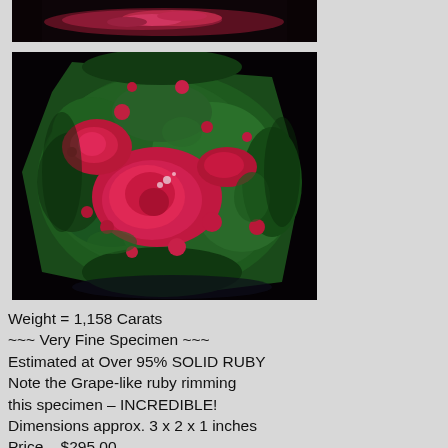[Figure (photo): Top portion of a ruby mineral specimen showing deep red/pink ruby against dark background, partial view]
[Figure (photo): Large ruby-in-zoisite (anyolite) specimen showing vivid green zoisite with bright magenta/red ruby inclusions, rough natural specimen on black background]
Weight = 1,158 Carats
~~~ Very Fine Specimen ~~~
Estimated at Over 95% SOLID RUBY
Note the Grape-like ruby rimming
this specimen – INCREDIBLE!
Dimensions approx. 3 x 2 x 1 inches
Price – $295.00